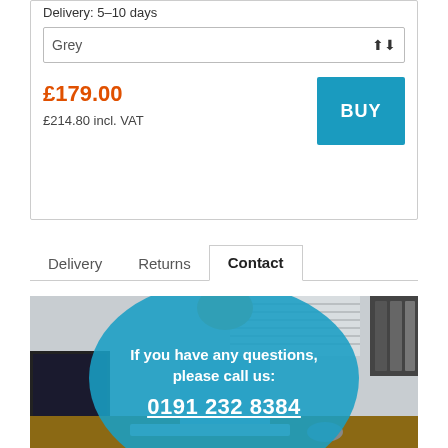Delivery: 5-10 days
Grey
£179.00
£214.80 incl. VAT
BUY
Delivery
Returns
Contact
[Figure (photo): Office worker at desk with contact information overlay. Blue blob overlay reads: If you have any questions, please call us: 0191 232 8384]
If you have any questions, please call us: 0191 232 8384